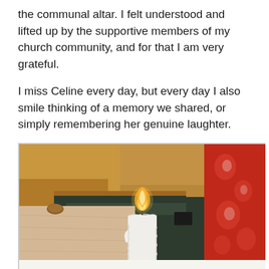the communal altar. I felt understood and lifted up by the supportive members of my church community, and for that I am very grateful.

I miss Celine every day, but every day I also smile thinking of a memory we shared, or simply remembering her genuine laughter.
[Figure (photo): A lit white candle in the foreground on a white surface, with a beige/tan draped table to the left, a dark green carpeted floor, wooden pew-like furniture in the background, and a red floral garment or fabric on the right side of the frame, inside a church or chapel setting.]